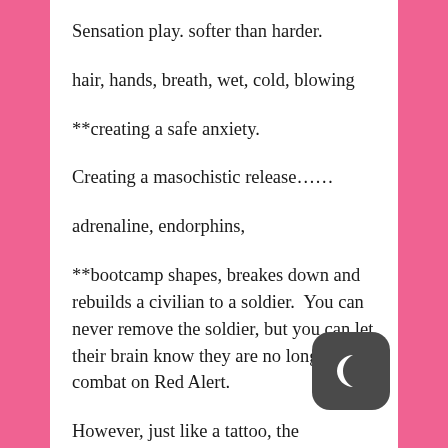Sensation play. softer than harder.
hair, hands, breath, wet, cold, blowing
**creating a safe anxiety.
Creating a masochistic release……
adrenaline, endorphins,
**bootcamp shapes, breakes down and rebuilds a civilian to a soldier.  You can never remove the soldier, but you can let their brain know they are no longer in combat on Red Alert.
However, just like a tattoo, the adrenaline and endorphins are now an addiction.  So, releasing